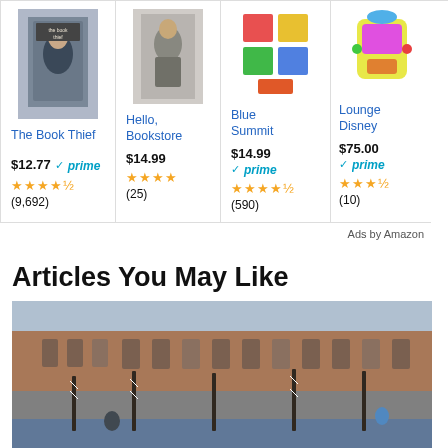[Figure (screenshot): Amazon product ad cards showing: The Book Thief ($12.77, prime, 4.5 stars, 9,692 reviews), Hello Bookstore ($14.99, 4 stars, 25 reviews), Blue Summit ($14.99, prime, 4.5 stars, 590 reviews), Lounge Disney (partially visible, $75.00, prime, 4 stars, 10 reviews)]
Ads by Amazon
Articles You May Like
[Figure (photo): Venice canal scene with brick buildings, arched windows, gondola poles and people near water]